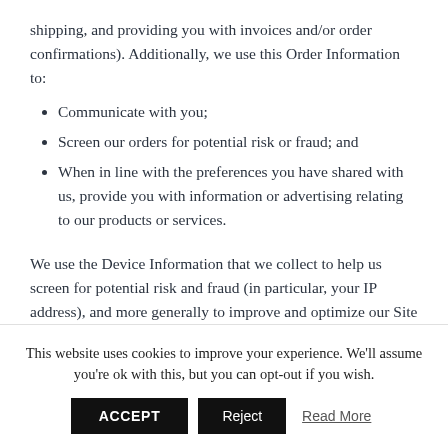shipping, and providing you with invoices and/or order confirmations). Additionally, we use this Order Information to:
Communicate with you;
Screen our orders for potential risk or fraud; and
When in line with the preferences you have shared with us, provide you with information or advertising relating to our products or services.
We use the Device Information that we collect to help us screen for potential risk and fraud (in particular, your IP address), and more generally to improve and optimize our Site (for example, by generating analytics about how our
This website uses cookies to improve your experience. We'll assume you're ok with this, but you can opt-out if you wish.
ACCEPT   Reject   Read More